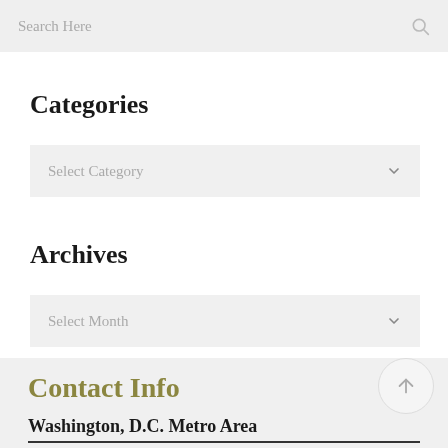Search Here
Categories
Select Category
Archives
Select Month
Contact Info
Washington, D.C. Metro Area